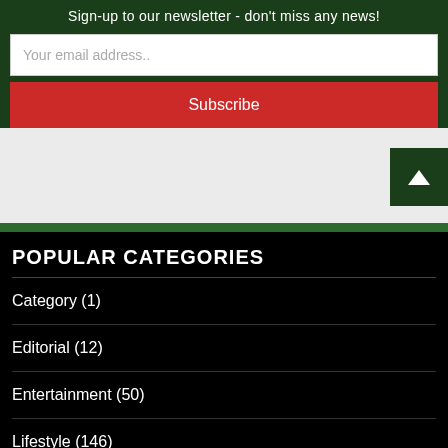Sign-up to our newsletter - don't miss any news!
Your email address..
Subscribe
POPULAR CATEGORIES
Category (1)
Editorial (12)
Entertainment (50)
Lifestyle (146)
local gossip (2,181)
Maritime (340)
Metro (2,288)